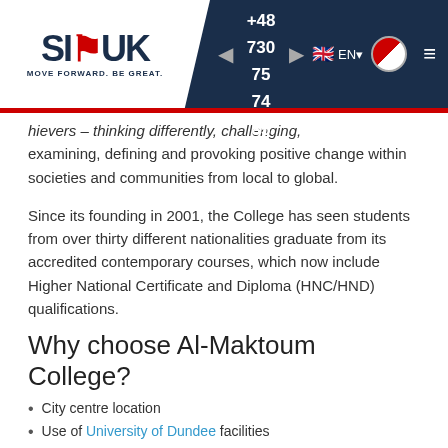[Figure (screenshot): SI-UK website navigation bar with logo, phone number +48 730 75 74 85, language selector EN, and hamburger menu]
hievers – thinking differently, challenging, examining, defining and provoking positive change within societies and communities from local to global.
Since its founding in 2001, the College has seen students from over thirty different nationalities graduate from its accredited contemporary courses, which now include Higher National Certificate and Diploma (HNC/HND) qualifications.
Why choose Al-Maktoum College?
City centre location
Use of University of Dundee facilities
Small class sizes (5-10 students)
Dundee is one of the most affordable cities in the UK for students to live in
Specialised teaching staff (associated with local universities)
Option to include Arabic language, taught by native speakers
Cost effective: University fees are much higher that College